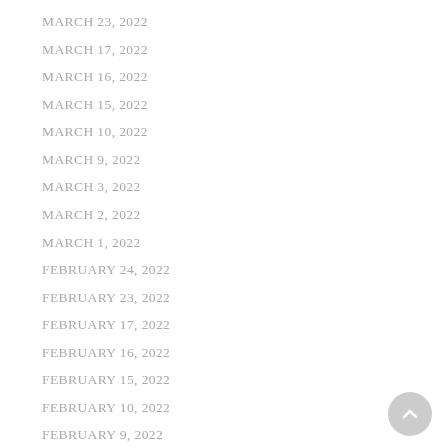MARCH 23, 2022
MARCH 17, 2022
MARCH 16, 2022
MARCH 15, 2022
MARCH 10, 2022
MARCH 9, 2022
MARCH 3, 2022
MARCH 2, 2022
MARCH 1, 2022
FEBRUARY 24, 2022
FEBRUARY 23, 2022
FEBRUARY 17, 2022
FEBRUARY 16, 2022
FEBRUARY 15, 2022
FEBRUARY 10, 2022
FEBRUARY 9, 2022
FEBRUARY 3, 2022
FEBRUARY 2, 2022